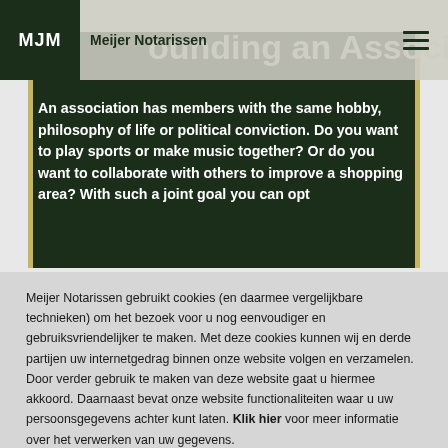MJM | Meijer Notarissen
Founding an Association
An association has members with the same hobby, philosophy of life or political conviction. Do you want to play sports or make music together? Or do you want to collaborate with others to improve a shopping area? With such a joint goal you can opt
Meijer Notarissen gebruikt cookies (en daarmee vergelijkbare technieken) om het bezoek voor u nog eenvoudiger en gebruiksvriendelijker te maken. Met deze cookies kunnen wij en derde partijen uw internetgedrag binnen onze website volgen en verzamelen. Door verder gebruik te maken van deze website gaat u hiermee akkoord. Daarnaast bevat onze website functionaliteiten waar u uw persoonsgegevens achter kunt laten. Klik hier voor meer informatie over het verwerken van uw gegevens.
Sluiten